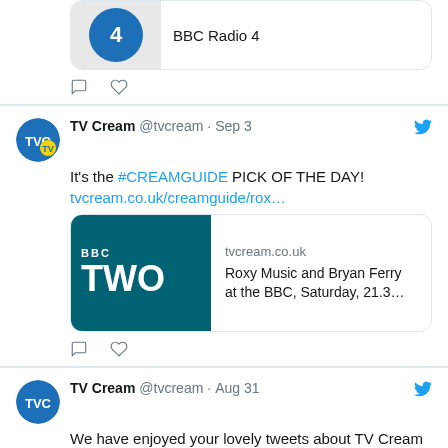[Figure (screenshot): Partial Twitter/X tweet showing a BBC Radio 4 link card with reply and like icons]
[Figure (screenshot): TV Cream @tvcream tweet from Sep 3 about #CREAMGUIDE PICK OF THE DAY with BBC TWO link card for Roxy Music and Bryan Ferry]
[Figure (screenshot): TV Cream @tvcream tweet from Aug 31 about enjoying lovely tweets about TV Cream, with 22 likes]